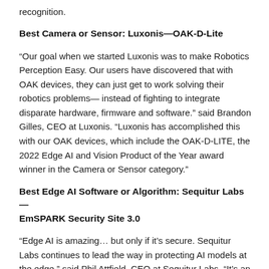recognition.
Best Camera or Sensor: Luxonis—OAK-D-Lite
“Our goal when we started Luxonis was to make Robotics Perception Easy. Our users have discovered that with OAK devices, they can just get to work solving their robotics problems— instead of fighting to integrate disparate hardware, firmware and software.” said Brandon Gilles, CEO at Luxonis. “Luxonis has accomplished this with our OAK devices, which include the OAK-D-LITE, the 2022 Edge AI and Vision Product of the Year award winner in the Camera or Sensor category.”
Best Edge AI Software or Algorithm: Sequitur Labs—EmSPARK Security Site 3.0
“Edge AI is amazing… but only if it’s secure. Sequitur Labs continues to lead the way in protecting AI models at the edge,” said Phil Attfield, CEO at Sequitur Labs. “It’s an honor